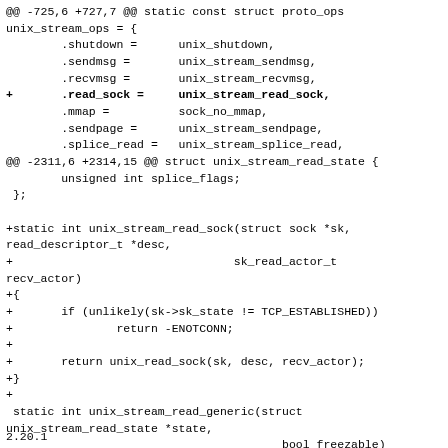@@ -725,6 +727,7 @@ static const struct proto_ops unix_stream_ops = {
        .shutdown =      unix_shutdown,
        .sendmsg =       unix_stream_sendmsg,
        .recvmsg =       unix_stream_recvmsg,
+       .read_sock =     unix_stream_read_sock,
        .mmap =          sock_no_mmap,
        .sendpage =      unix_stream_sendpage,
        .splice_read =   unix_stream_splice_read,
@@ -2311,6 +2314,15 @@ struct unix_stream_read_state {
        unsigned int splice_flags;
 };

+static int unix_stream_read_sock(struct sock *sk,
read_descriptor_t *desc,
+                                sk_read_actor_t
recv_actor)
+{
+       if (unlikely(sk->sk_state != TCP_ESTABLISHED))
+               return -ENOTCONN;
+
+       return unix_read_sock(sk, desc, recv_actor);
+}
+
 static int unix_stream_read_generic(struct
unix_stream_read_state *state,
                                        bool freezable)
 {
--
2.20.1